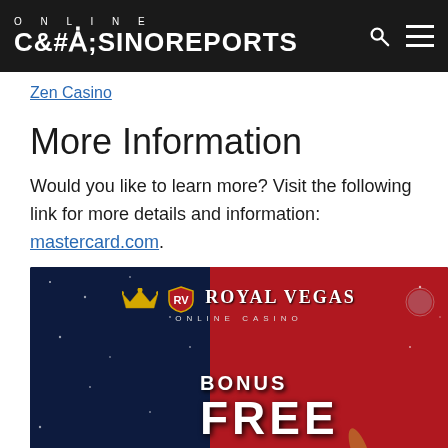ONLINE CASINOREPORTS
Zen Casino
More Information
Would you like to learn more? Visit the following link for more details and information: mastercard.com.
[Figure (photo): Royal Vegas Online Casino promotional banner showing 'BONUS FREE' text with space-themed background featuring stars and planets. A cookie consent overlay is present with 'Important Notice!' text and 'I agree' button.]